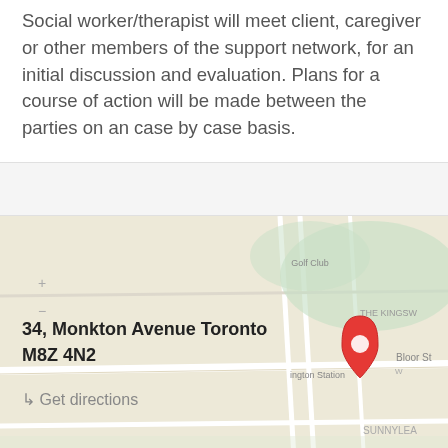Social worker/therapist will meet client, caregiver or other members of the support network, for an initial discussion and evaluation. Plans for a course of action will be made between the parties on an case by case basis.
[Figure (map): Google Maps embed showing location pin at 34 Monkton Avenue Toronto, with surrounding streets including Bloor St, THE KINGSW text visible, SUNNYLEA neighborhood label, and a golf club area.]
34, Monkton Avenue Toronto M8Z 4N2
↳ Get directions